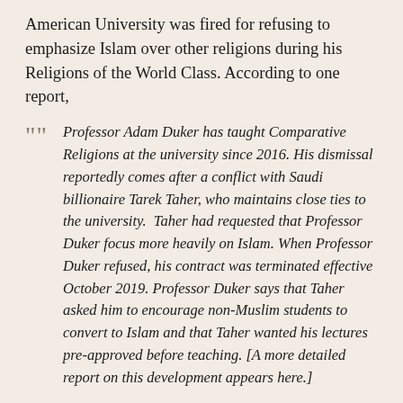American University was fired for refusing to emphasize Islam over other religions during his Religions of the World Class. According to one report,
Professor Adam Duker has taught Comparative Religions at the university since 2016. His dismissal reportedly comes after a conflict with Saudi billionaire Tarek Taher, who maintains close ties to the university. Taher had requested that Professor Duker focus more heavily on Islam. When Professor Duker refused, his contract was terminated effective October 2019. Professor Duker says that Taher asked him to encourage non-Muslim students to convert to Islam and that Taher wanted his lectures pre-approved before teaching. [A more detailed report on this development appears here.]
Pakistan: "A pastor … received a letter on May 1 warning him that his church would be the site of a terrorist attack unless he paid a ransom of more than $3,500.00," notes a report. "The threat has many church leaders in Karachi